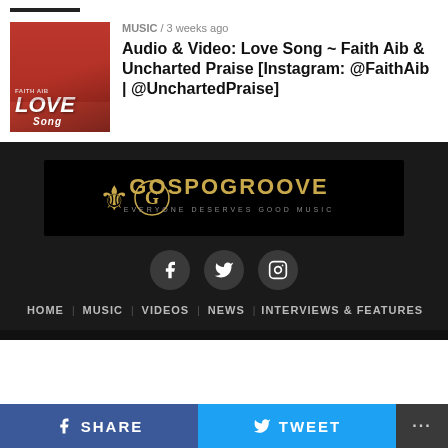[Figure (photo): Thumbnail image of woman in red dress with 'Love Song' text overlay]
MUSIC / 3 weeks ago
Audio & Video: Love Song ~ Faith Aib & Uncharted Praise [Instagram: @FaithAib | @UnchartedPraise]
[Figure (logo): GospoGroove logo banner — gold ornate G emblem with text 'GOSPOGROOVE' and tagline 'EVERYONE DESERVES GOOD MUSIC' on black background]
[Figure (infographic): Social media icons row: Facebook, Twitter, Instagram circles on dark background]
HOME   MUSIC   VIDEOS   NEWS   INTERVIEWS & FEATURES
SHARE   TWEET   ...